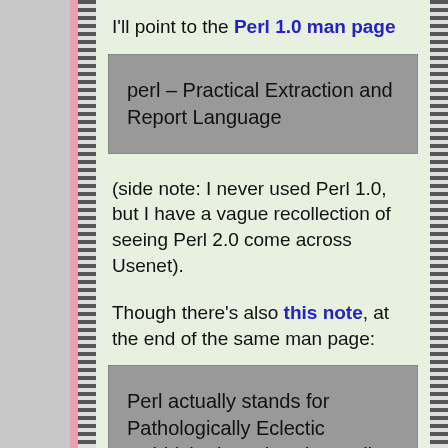I'll point to the Perl 1.0 man page
perl – Practical Extraction and Report Language
(side note: I never used Perl 1.0, but I have a vague recollection of seeing Perl 2.0 come across Usenet).
Though there's also this note, at the end of the same man page:
Perl actually stands for Pathologically Eclectic Rubbish Lister, but don't tell anyone I said that.